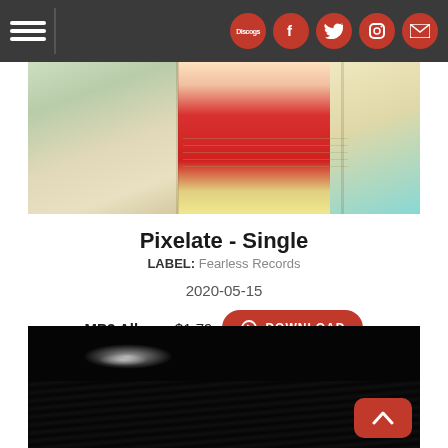Navigation bar with hamburger menu and social icons (Discogs, Facebook, Twitter, Instagram, Email)
[Figure (photo): Abstract colorful album art image with segments of muted greens, cream, red triangle, and teal on right edge]
Pixelate - Single
LABEL: Fearless Records
2020-05-15
MP3 Album: $1.79  DOWNLOAD
[Figure (photo): Dark black and white photo with water splashing, small bright highlight on upper left, red back-to-top button in lower right corner]